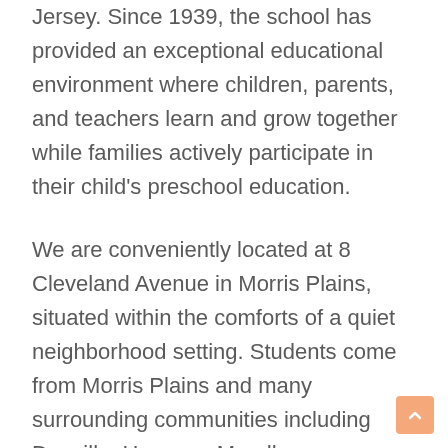Jersey. Since 1939, the school has provided an exceptional educational environment where children, parents, and teachers learn and grow together while families actively participate in their child's preschool education.
We are conveniently located at 8 Cleveland Avenue in Morris Plains, situated within the comforts of a quiet neighborhood setting. Students come from Morris Plains and many surrounding communities including Denville, Hanover, Mendham, Morristown, Parsippany, Randolph, Rockaway, and Whippany. Our spacious playground provides the perfect setting for children to socialize while developing their gross motor skills. With several large climbers, an oversized sandbox, a winding bike path, and riding toys aplenty, there is